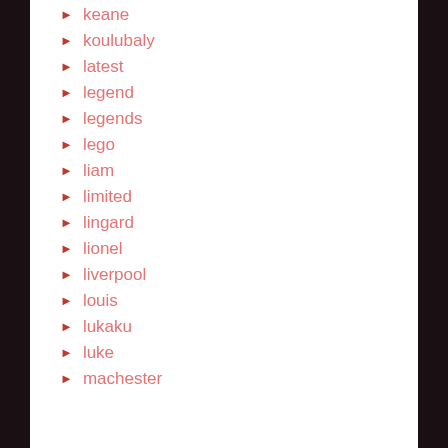keane
koulubaly
latest
legend
legends
lego
liam
limited
lingard
lionel
liverpool
louis
lukaku
luke
machester